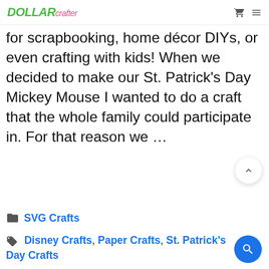Dollar Crafter — navigation header with cart and menu icons
for scrapbooking, home décor DIYs, or even crafting with kids! When we decided to make our St. Patrick's Day Mickey Mouse I wanted to do a craft that the whole family could participate in. For that reason we …
Read more
SVG Crafts
Disney Crafts, Paper Crafts, St. Patrick's Day Crafts